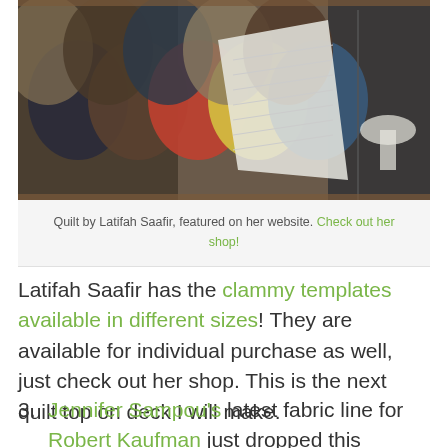[Figure (photo): Photo of a quilt by Latifah Saafir featuring clamshell/clam shell pattern pieces in dark brown, navy, red, yellow, and other colors, displayed on and around a book or notebook, with a dark background piece visible on the right side.]
Quilt by Latifah Saafir, featured on her website. Check out her shop!
Latifah Saafir has the clammy templates available in different sizes! They are available for individual purchase as well, just check out her shop. This is the next quilt top on deck I will make.
3. Jennifer Sampou's latest fabric line for Robert Kaufman just dropped this